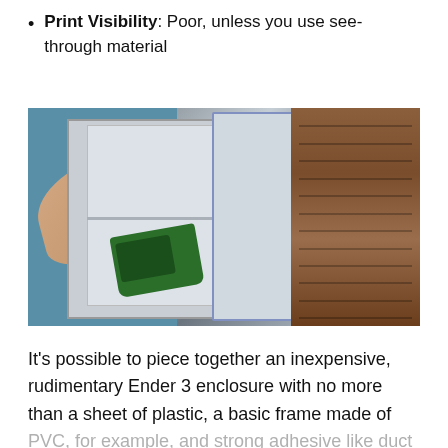Print Visibility: Poor, unless you use see-through material
[Figure (photo): A person's arm reaching into a white/gray rectangular enclosure (DIY Ender 3 printer enclosure) built from plastic panels and a basic frame. A green cordless drill sits on the bottom shelf inside the enclosure. A wooden louvered cabinet is visible in the background on the right.]
It's possible to piece together an inexpensive, rudimentary Ender 3 enclosure with no more than a sheet of plastic, a basic frame made of PVC, for example, and strong adhesive like duct